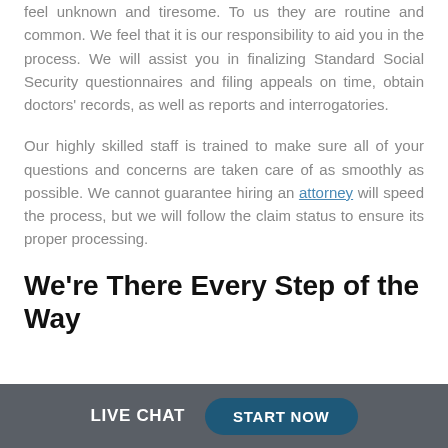feel unknown and tiresome. To us they are routine and common. We feel that it is our responsibility to aid you in the process. We will assist you in finalizing Standard Social Security questionnaires and filing appeals on time, obtain doctors' records, as well as reports and interrogatories.
Our highly skilled staff is trained to make sure all of your questions and concerns are taken care of as smoothly as possible. We cannot guarantee hiring an attorney will speed the process, but we will follow the claim status to ensure its proper processing.
We're There Every Step of the Way
LIVE CHAT   START NOW